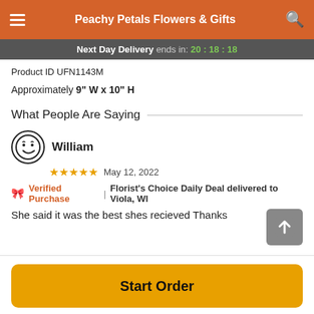Peachy Petals Flowers & Gifts
Next Day Delivery ends in: 20:18:18
Product ID UFN1143M
Approximately 9" W x 10" H
What People Are Saying
William
★★★★★  May 12, 2022
🎀 Verified Purchase | Florist's Choice Daily Deal delivered to Viola, WI
She said it was the best shes recieved Thanks